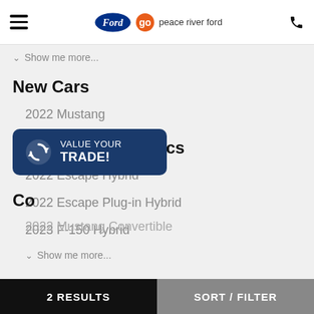Go Peace River Ford
Show me more...
New Cars
2022 Mustang
Hybrids and Electrics
2022 Escape Hybrid
2022 Escape Plug-in Hybrid
2023 F-150 Hybrid
Show me more...
[Figure (infographic): VALUE YOUR TRADE! button overlay with circular arrows icon]
Co...
2022 Mustang Convertible
2 RESULTS   SORT / FILTER